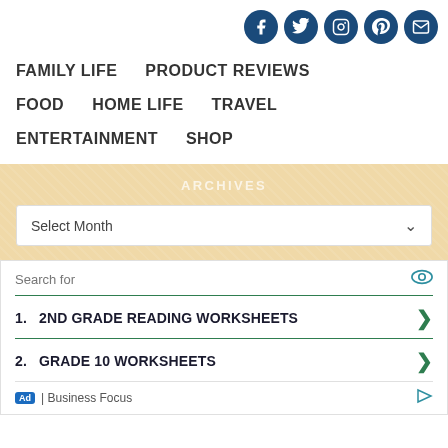[Figure (other): Social media icons row: Facebook, Twitter, Instagram, Pinterest, Email — dark blue circles with white icons, aligned to right]
FAMILY LIFE   PRODUCT REVIEWS   FOOD   HOME LIFE   TRAVEL   ENTERTAINMENT   SHOP
ARCHIVES
Select Month
Search for
1. 2ND GRADE READING WORKSHEETS
2. GRADE 10 WORKSHEETS
Ad | Business Focus